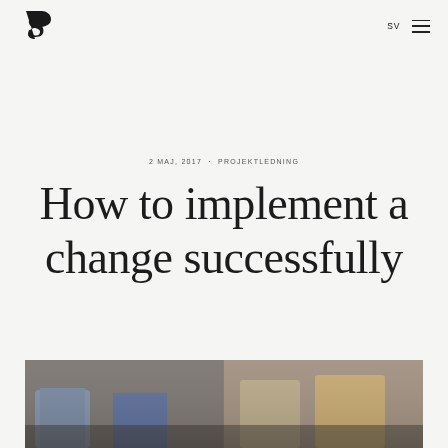S logo | SV | menu
2 MAJ, 2017 · PROJEKTLEDNING
How to implement a change successfully
[Figure (photo): Photo strip at bottom showing people sitting, cropped view of legs and lower bodies in denim jeans]